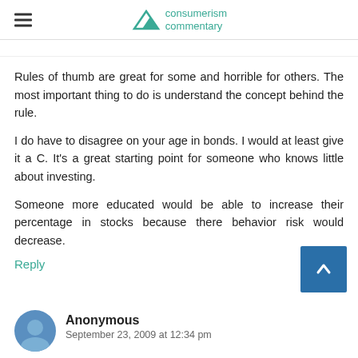consumerism commentary
Rules of thumb are great for some and horrible for others. The most important thing to do is understand the concept behind the rule.
I do have to disagree on your age in bonds. I would at least give it a C. It's a great starting point for someone who knows little about investing.
Someone more educated would be able to increase their percentage in stocks because there behavior risk would decrease.
Reply
[Figure (illustration): Blue square scroll-to-top button with white upward chevron arrow]
[Figure (illustration): Round blue avatar icon with generic person silhouette]
Anonymous
September 23, 2009 at 12:34 pm